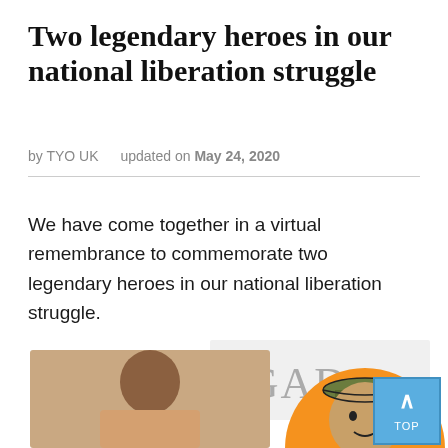Two legendary heroes in our national liberation struggle
by TYO UK   updated on May 24, 2020
We have come together in a virtual remembrance to commemorate two legendary heroes in our national liberation struggle.
[Figure (photo): Composite image showing a photograph of a young man overlaid with an illustrated cartoon figure of a person in military cap on an orange circular background, with text partially visible reading 'IGAD' in grey letters on a white card behind.]